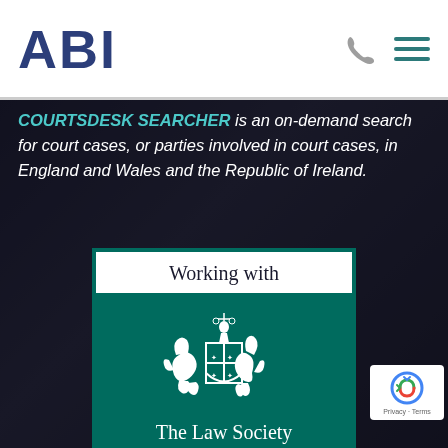ABI
COURTSDESK SEARCHER is an on-demand search for court cases, or parties involved in court cases, in England and Wales and the Republic of Ireland.
[Figure (logo): Working with The Law Society logo — teal/green background with white Law Society coat of arms crest and text 'Working with' in white bar at top, 'The Law Society' in white serif text at bottom]